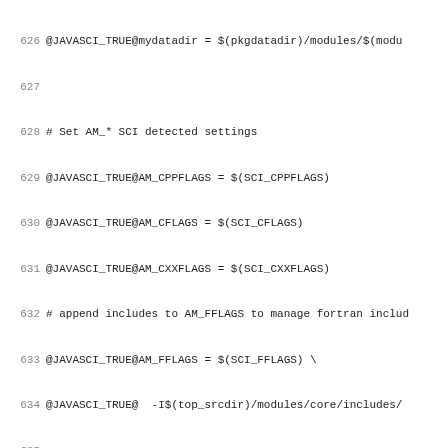Source code / Makefile snippet, lines 626-658
626 @JAVASCI_TRUE@mydatadir = $(pkgdatadir)/modules/$(modu
627
628 # Set AM_* SCI detected settings
629 @JAVASCI_TRUE@AM_CPPFLAGS = $(SCI_CPPFLAGS)
630 @JAVASCI_TRUE@AM_CFLAGS = $(SCI_CFLAGS)
631 @JAVASCI_TRUE@AM_CXXFLAGS = $(SCI_CXXFLAGS)
632 # append includes to AM_FFLAGS to manage fortran includ
633 @JAVASCI_TRUE@AM_FFLAGS = $(SCI_FFLAGS) \
634 @JAVASCI_TRUE@  -I$(top_srcdir)/modules/core/includes/
635
636 # Tag shared libraries with the Scilab version
637 @JAVASCI_TRUE@AM_LDFLAGS = $(SCI_LDFLAGS) -version-numb
638 @JAVASCI_TRUE@  $(SCILAB_LIBRARY_VERSION)
639
640 # splint options
641 @JAVASCI_TRUE@SPLINT_OPTIONS = -weak -booltype BOOL
642
643 ########################## JAVA ########################
644 #### We are delegating java compilation to ant... Thank
645 #### the procedure will be the same with Microsoft Wind
646 #### and Linux/Unix
647 ####################################################
648 @JAVASCI_TRUE@TARGETS_ALL = $(am__append_2)
649
650 ################ MACROS #######################
651 # Rule to build a macro
652 # NOT USED  AT THE MOMENT
653 @JAVASCI_TRUE@SUFFIXES = .sci
654
655 ########### INSTALL DOCUMENTATION ####################
656
657 # Install documentation files into the right target
658 # We do not use the automake mechanism (libxxx.la helr